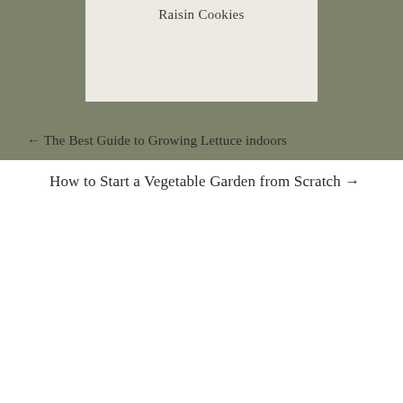[Figure (other): Olive/sage green background block with a light cream-colored inner card area containing the title 'Raisin Cookies']
← The Best Guide to Growing Lettuce indoors
How to Start a Vegetable Garden from Scratch →